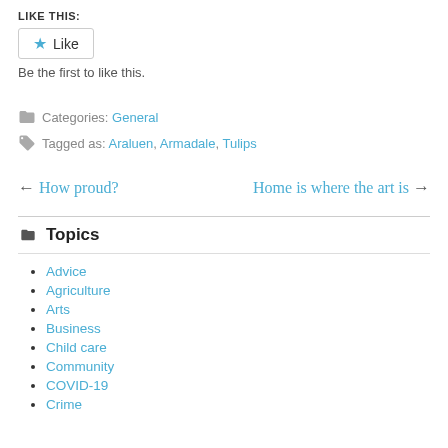LIKE THIS:
Like
Be the first to like this.
Categories: General
Tagged as: Araluen, Armadale, Tulips
← How proud?
Home is where the art is →
Topics
Advice
Agriculture
Arts
Business
Child care
Community
COVID-19
Crime